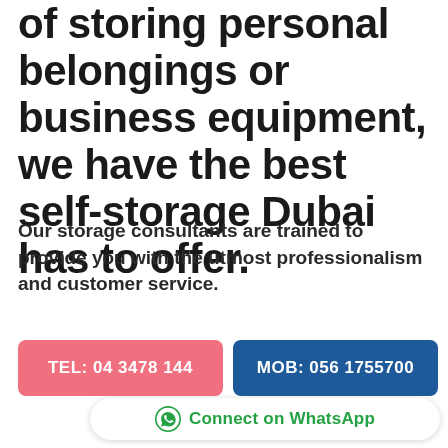of storing personal belongings or business equipment, we have the best self-storage Dubai has to offer.
Our storage consultants are trained to provide you with the utmost professionalism and customer service.
TEL: 04 3478 144
MOB: 056 1755700
Connect on WhatsApp